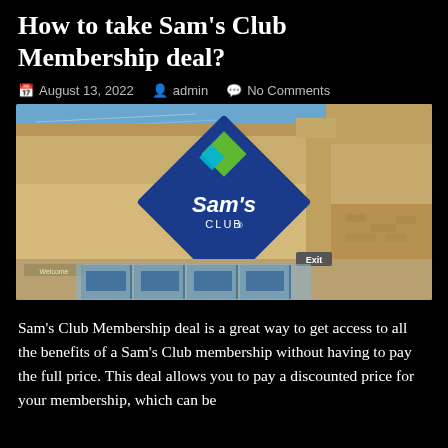How to take Sam's Club Membership deal?
August 13, 2022  admin  No Comments
[Figure (photo): Exterior photo of a Sam's Club retail store building. A large blue diamond-shaped sign with the Sam's Club logo is mounted on a beige/tan stucco wall. The entrance area below shows 'Welcome' and 'Exit' signage with glass doors.]
Sam's Club Membership deal is a great way to get access to all the benefits of a Sam's Club membership without having to pay the full price. This deal allows you to pay a discounted price for your membership, which can be